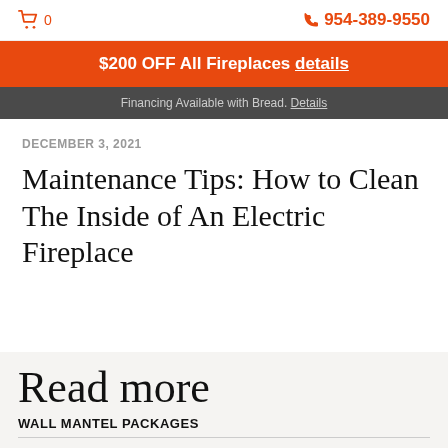🛒 0   📞 954-389-9550
$200 OFF All Fireplaces details
Financing Available with Bread. Details
DECEMBER 3, 2021
Maintenance Tips: How to Clean The Inside of An Electric Fireplace
Read more
WALL MANTEL PACKAGES